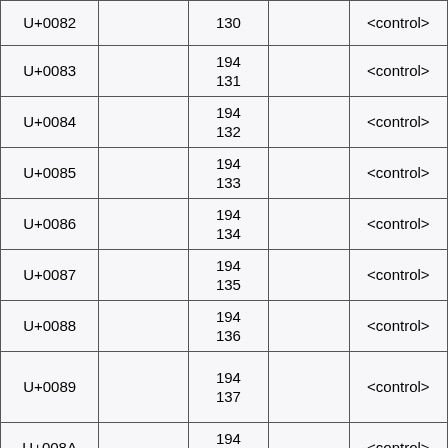| Code |  | Bytes |  | Name |
| --- | --- | --- | --- | --- |
| U+0082 |  | 130 |  | <control> |
| U+0083 |  | 194
131 |  | <control> |
| U+0084 |  | 194
132 |  | <control> |
| U+0085 |  | 194
133 |  | <control> |
| U+0086 |  | 194
134 |  | <control> |
| U+0087 |  | 194
135 |  | <control> |
| U+0088 |  | 194
136 |  | <control> |
| U+0089 |  | 194
137 |  | <control> |
| U+008A |  | 194
138 |  | <control> |